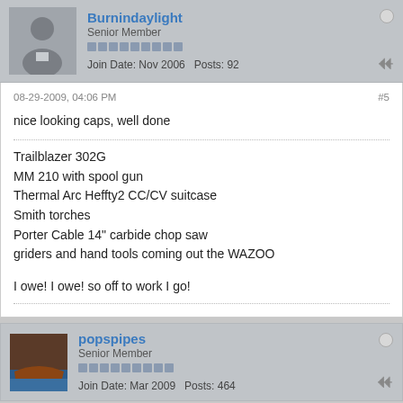Burnindaylight – Senior Member – Join Date: Nov 2006 Posts: 92
08-29-2009, 04:06 PM
#5

nice looking caps, well done

Trailblazer 302G
MM 210 with spool gun
Thermal Arc Heffty2 CC/CV suitcase
Smith torches
Porter Cable 14" carbide chop saw
griders and hand tools coming out the WAZOO

I owe! I owe! so off to work I go!
popspipes – Senior Member – Join Date: Mar 2009 Posts: 464